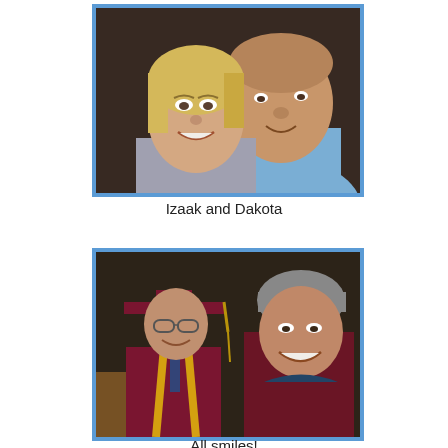[Figure (photo): Close-up photo of a young blonde woman and an older man (father and daughter or couple) smiling together, dark background. The man wears a light blue shirt.]
Izaak and Dakota
[Figure (photo): Photo of two males at a graduation ceremony. The man on the left wears a maroon graduation cap and gown with yellow and gold tassels and a tie. The younger male on the right wears a gray beanie and maroon graduation gown.]
All smiles!